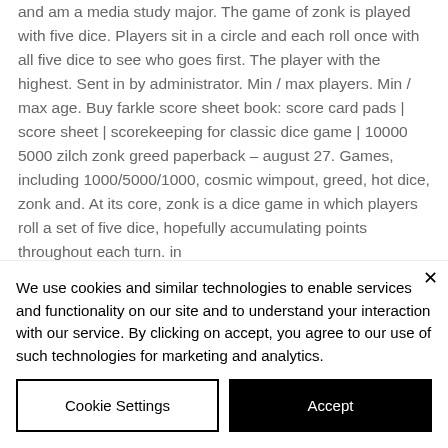and am a media study major. The game of zonk is played with five dice. Players sit in a circle and each roll once with all five dice to see who goes first. The player with the highest. Sent in by administrator. Min / max players. Min / max age. Buy farkle score sheet book: score card pads | score sheet | scorekeeping for classic dice game | 10000 5000 zilch zonk greed paperback – august 27. Games, including 1000/5000/1000, cosmic wimpout, greed, hot dice, zonk and. At its core, zonk is a dice game in which players roll a set of five dice, hopefully accumulating points throughout each turn. in
We use cookies and similar technologies to enable services and functionality on our site and to understand your interaction with our service. By clicking on accept, you agree to our use of such technologies for marketing and analytics.
Cookie Settings
Accept